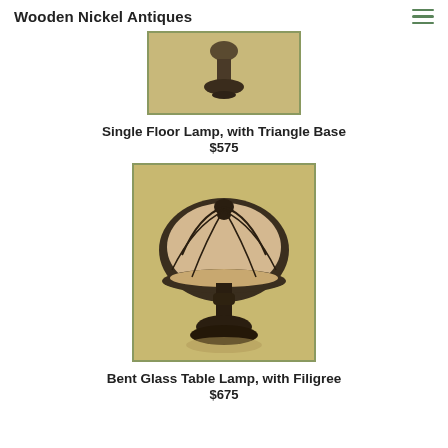Wooden Nickel Antiques
[Figure (photo): Partial view of a single floor lamp with triangle base, antique style, against warm beige background]
Single Floor Lamp, with Triangle Base
$575
[Figure (photo): Bent glass table lamp with filigree metalwork, dark bronze finish with curved glass panels, against warm beige background]
Bent Glass Table Lamp, with Filigree
$675